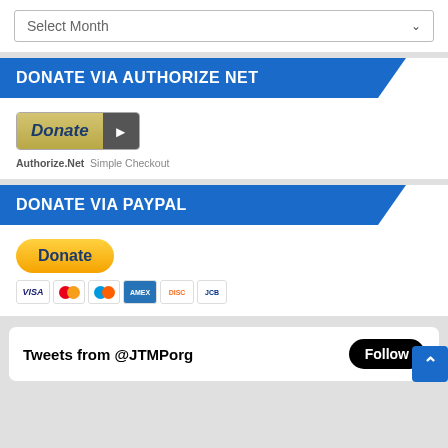[Figure (screenshot): Select Month dropdown input field with chevron]
DONATE VIA AUTHORIZE NET
[Figure (screenshot): Authorize.Net Donate button with arrow and Simple Checkout label]
DONATE VIA PAYPAL
[Figure (screenshot): PayPal Donate button with credit card icons: Visa, Mastercard, Mastercard variant, Amex, Discover, JCB]
Tweets from @JTMPorg
[Figure (screenshot): Follow button (black rounded pill) and blue back-to-top arrow button]